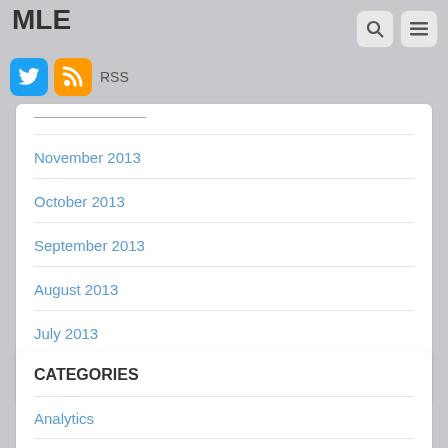MLE
November 2013
October 2013
September 2013
August 2013
July 2013
June 2013
CATEGORIES
Analytics
Android
BB 2014